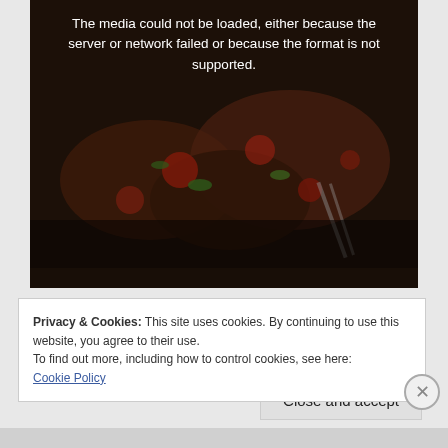[Figure (screenshot): Video player area showing a darkened food image (salad/vegetables) with a media error message overlay: 'The media could not be loaded, either because the server or network failed or because the format is not supported.']
Privacy & Cookies: This site uses cookies. By continuing to use this website, you agree to their use.
To find out more, including how to control cookies, see here:
Cookie Policy
Close and accept